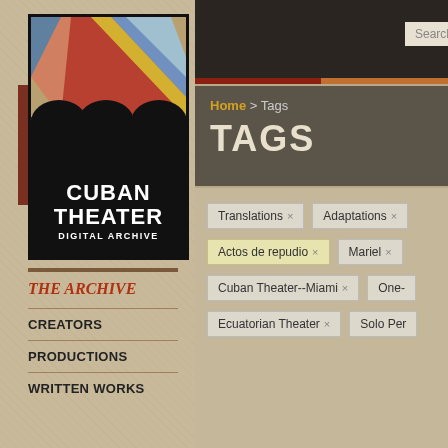[Figure (logo): Cuban Theater Digital Archive logo with colorful geometric art and black background]
THE ARCHIVE
CREATORS
PRODUCTIONS
WRITTEN WORKS
Search... GO
Home > Tags
TAGS
Translations ×
Adaptations ×
Actos de repudio ×
Mariel ×
Cuban Theater--Miami ×
One-
Ecuatorian Theater ×
Solo Per